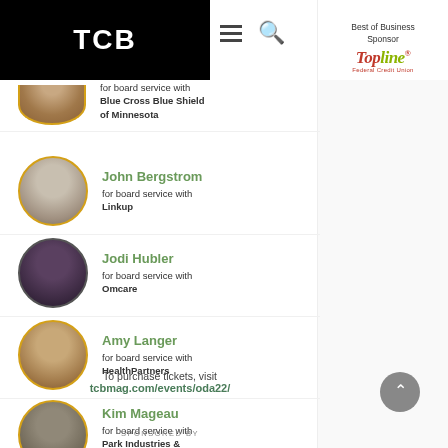[Figure (logo): TCB logo - white text on black background]
[Figure (logo): TopLine Federal Credit Union logo - Best of Business Sponsor]
for board service with Blue Cross Blue Shield of Minnesota
John Bergstrom for board service with Linkup
Jodi Hubler for board service with Omcare
Amy Langer for board service with HealthPartners
Kim Mageau for board service with Park Industries & Ulteig Engineering
To purchase tickets, visit tcbmag.com/events/oda22/
SPONSORED BY